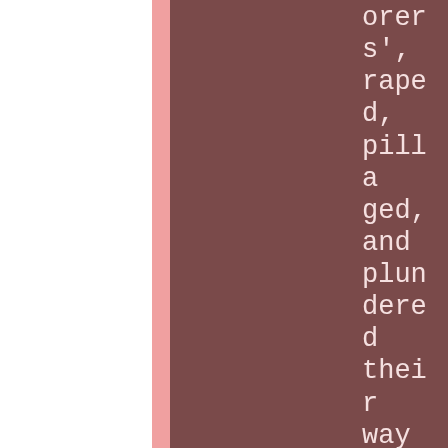orers', raped, pillaged, and plundered their way throughout the unsuspecting